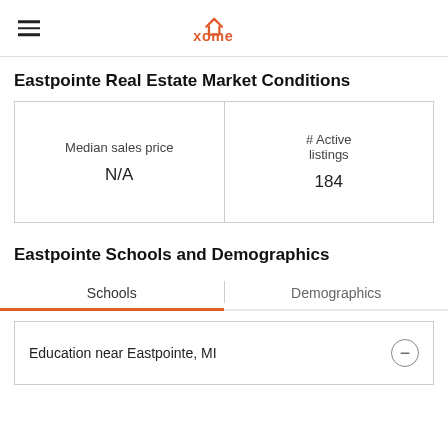xome
Eastpointe Real Estate Market Conditions
| Median sales price | # Active listings |
| --- | --- |
| N/A | 184 |
Eastpointe Schools and Demographics
Schools | Demographics
Education near Eastpointe, MI